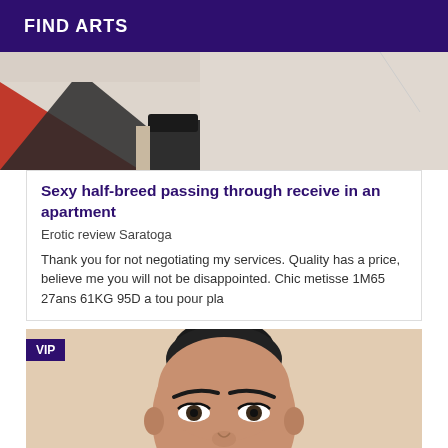FIND ARTS
[Figure (photo): Bottom portion of a photo showing shoes/feet on a red and white surface]
Sexy half-breed passing through receive in an apartment
Erotic review Saratoga
Thank you for not negotiating my services. Quality has a price, believe me you will not be disappointed. Chic metisse 1M65 27ans 61KG 95D a tou pour pla
[Figure (photo): Portrait photo of a young woman with hair pulled back, looking directly at camera. VIP badge overlay in top left.]